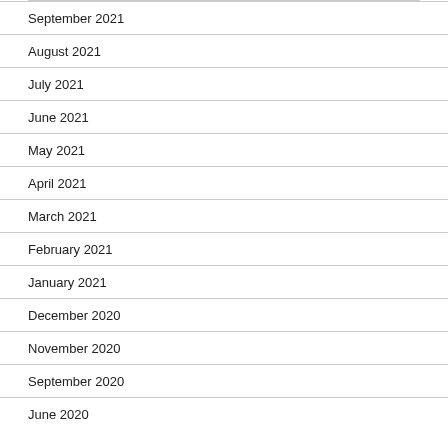September 2021
August 2021
July 2021
June 2021
May 2021
April 2021
March 2021
February 2021
January 2021
December 2020
November 2020
September 2020
June 2020